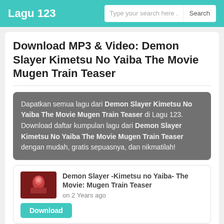Lagu 123
Download MP3 & Video: Demon Slayer Kimetsu No Yaiba The Movie Mugen Train Teaser
Dapatkan semua lagu dari Demon Slayer Kimetsu No Yaiba The Movie Mugen Train Teaser di Lagu 123. Download daftar kumpulan lagu dari Demon Slayer Kimetsu No Yaiba The Movie Mugen Train Teaser dengan mudah, gratis sepuasnya, dan nikmatilah!
Demon Slayer -Kimetsu no Yaiba- The Movie: Mugen Train Teaser
on 2 Years ago
Download
Demon Slayer - Kimetsu no Yaiba - The Movie: Mugen Train Teaser Trailer
on 2 Years ago